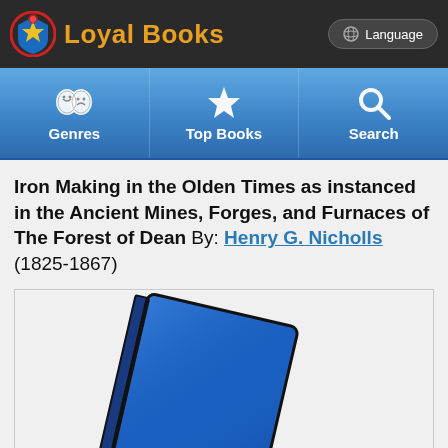Loyal Books — Language
[Figure (screenshot): Navigation bar with Genres, Top Books, and Search icons on blue gradient background]
Iron Making in the Olden Times as instanced in the Ancient Mines, Forges, and Furnaces of The Forest of Dean By: Henry G. Nicholls (1825-1867)
[Figure (illustration): Blue book cover illustration, tilted at an angle, showing a blue hardcover book with dark outline against a light gray background]